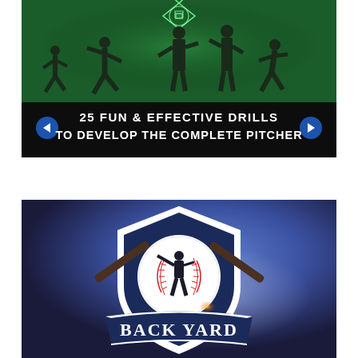[Figure (screenshot): Baseball pitching drill app screenshot. Dark green background with silhouettes of baseball players in pitching motion. A baseball diamond diagram at top. Text reads '25 FUN & EFFECTIVE DRILLS TO DEVELOP THE COMPLETE PITCHER' in white bold font. Blue navigation arrows on left and right.]
[Figure (logo): Back Yard baseball logo. Blue-purple gradient background with a shield-shaped emblem featuring crossed baseball bats and a baseball with a batter silhouette. Large bold white text reads 'BACK YARD' in a sports team font at the bottom of the logo.]